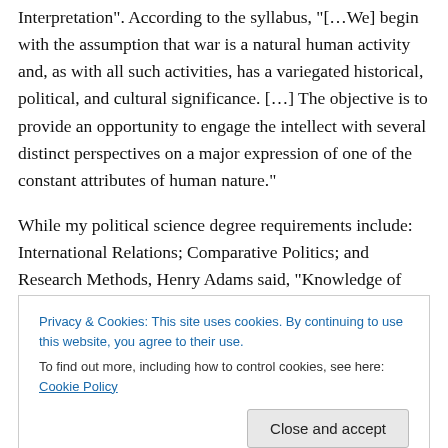Interpretation". According to the syllabus, "[…We] begin with the assumption that war is a natural human activity and, as with all such activities, has a variegated historical, political, and cultural significance. […] The objective is to provide an opportunity to engage the intellect with several distinct perspectives on a major expression of one of the constant attributes of human nature."
While my political science degree requirements include: International Relations; Comparative Politics; and Research Methods, Henry Adams said, "Knowledge of
Privacy & Cookies: This site uses cookies. By continuing to use this website, you agree to their use.
To find out more, including how to control cookies, see here: Cookie Policy
to politics. It doesn't attempt to grasp the internal